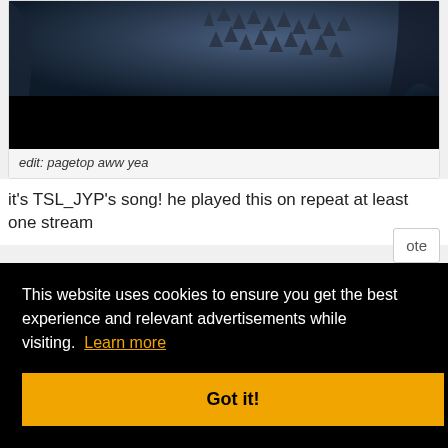[Figure (photo): Dark moody photo showing spiky or textured object against dark background, with black bar at bottom]
edit: pagetop aww yea
it's TSL_JYP's song! he played this on repeat at least one stream
This website uses cookies to ensure you get the best experience and relevant advertisements while visiting. Learn more
Got it!